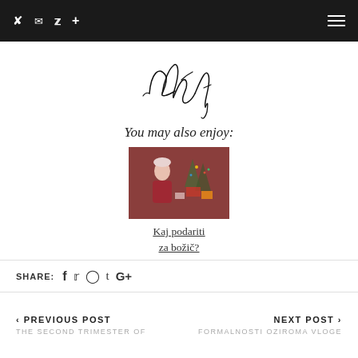Twitter Instagram Facebook + [hamburger menu]
[Figure (illustration): Stylized handwritten signature reading 'Ajda' in cursive script]
You may also enjoy:
[Figure (photo): A woman in winter clothes with a white hat near Christmas decorations and gifts]
Kaj podariti za božič?
SHARE:
< PREVIOUS POST  THE SECOND TRIMESTER OF   NEXT POST >  FORMALNOSTI OZIROMA VLOGE